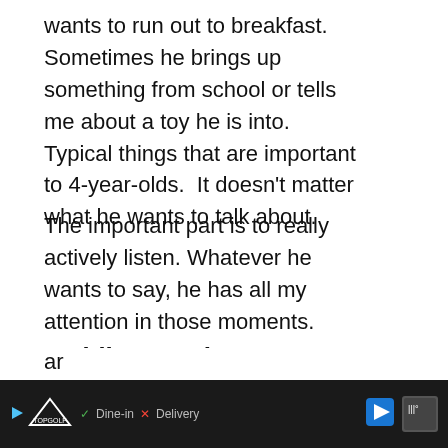wants to run out to breakfast.  Sometimes he brings up something from school or tells me about a toy he is into.  Typical things that are important to 4-year-olds.  It doesn't matter what he wants to talk about.
The important part is to really actively listen. Whatever he wants to say, he has all my attention in those moments.
Toddler Meetings
This is the way my meetings with my 4- go.  We've been doing them for a long time now
[Figure (other): Social interaction buttons: teal heart/like button and share button with count of 1]
[Figure (other): What's Next promotional banner with globe icon showing 'WHAT'S NEXT → Success!']
[Figure (other): Advertisement bar at bottom: Topgolf ad with Dine-in and Delivery options, navigation arrow icon]